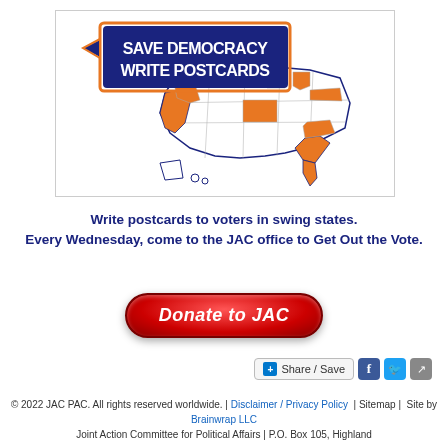[Figure (logo): Save Democracy Write Postcards logo with US map showing swing states highlighted in orange]
Write postcards to voters in swing states. Every Wednesday, come to the JAC office to Get Out the Vote.
[Figure (infographic): Red Donate to JAC button]
[Figure (infographic): Share / Save social sharing bar with Facebook, Twitter, and share icons]
© 2022 JAC PAC. All rights reserved worldwide. | Disclaimer / Privacy Policy | Sitemap | Site by Brainwrap LLC Joint Action Committee for Political Affairs | P.O. Box 105, Highland